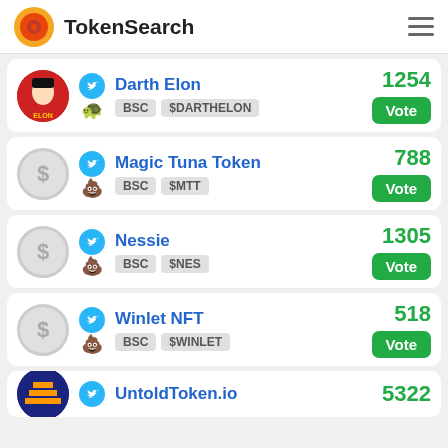TokenSearch
Darth Elon | BSC $DARTHELON | 1254 | Vote
Magic Tuna Token | BSC $MTT | 788 | Vote
Nessie | BSC $NES | 1305 | Vote
Winlet NFT | BSC $WINLET | 518 | Vote
UntoldToken.io | 5322